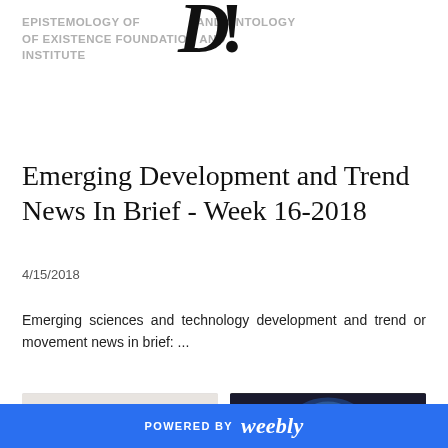EPISTEMOLOGY OF EXISTENCE AND ONTOLOGY OF EXISTENCE FOUNDATION AND INSTITUTE
Emerging Development and Trend News In Brief - Week 16-2018
4/15/2018
Emerging sciences and technology development and trend or movement news in brief: ...
[Figure (illustration): Illustration of a diverse group of people standing together]
[Figure (photo): Dark photo showing a globe or Earth from space]
POWERED BY weebly